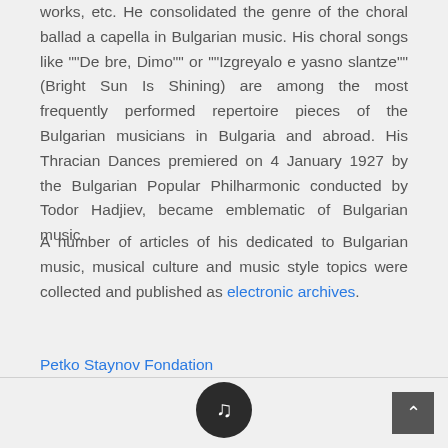works, etc. He consolidated the genre of the choral ballad a capella in Bulgarian music. His choral songs like ""De bre, Dimo"" or ""Izgreyalo e yasno slantze"" (Bright Sun Is Shining) are among the most frequently performed repertoire pieces of the Bulgarian musicians in Bulgaria and abroad. His Thracian Dances premiered on 4 January 1927 by the Bulgarian Popular Philharmonic conducted by Todor Hadjiev, became emblematic of Bulgarian music.
A number of articles of his dedicated to Bulgarian music, musical culture and music style topics were collected and published as electronic archives.
Petko Staynov Fondation
[Figure (other): Dark circular music button with a musical note icon, centered at the bottom of the page footer area]
[Figure (other): Dark grey square scroll-to-top button with an upward arrow, positioned at the bottom right corner]